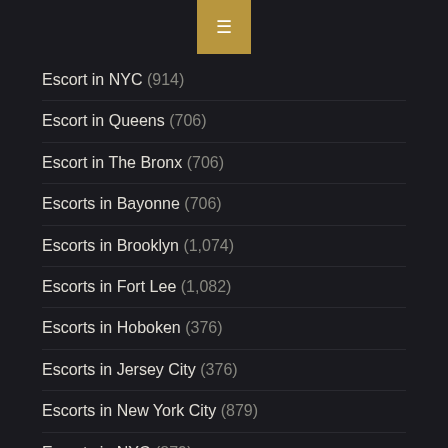[Figure (other): Hamburger menu button with gold/tan background color positioned at top center]
Escort in NYC (914)
Escort in Queens (706)
Escort in The Bronx (706)
Escorts in Bayonne (706)
Escorts in Brooklyn (1,074)
Escorts in Fort Lee (1,082)
Escorts in Hoboken (376)
Escorts in Jersey City (376)
Escorts in New York City (879)
Escorts in NYC (879)
FEATURED (210)